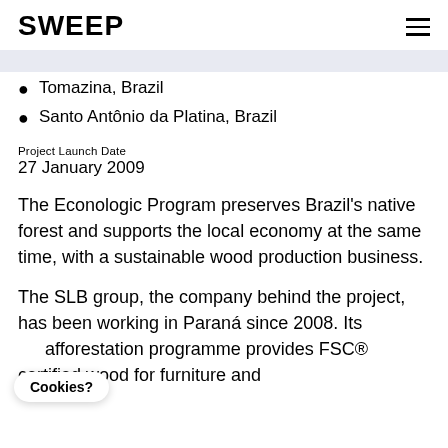SWEEP
Tomazina, Brazil
Santo Antônio da Platina, Brazil
Project Launch Date
27 January 2009
The Econologic Program preserves Brazil's native forest and supports the local economy at the same time, with a sustainable wood production business.
The SLB group, the company behind the project, has been working in Paraná since 2008. Its afforestation programme provides FSC® certified wood for furniture and